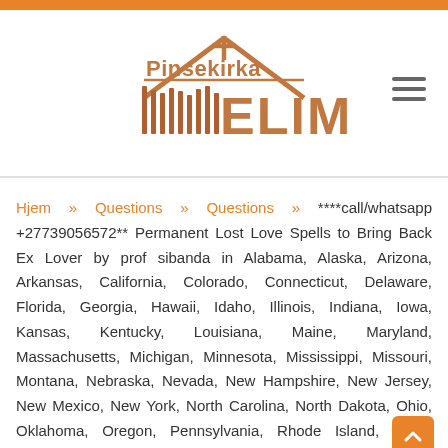[Figure (logo): Pinsekirka Elim church logo with house/church outline, cross, and vertical bars forming a stylized design in brown/orange tones]
Hjem » Questions » Questions » ****call/whatsapp +27739056572** Permanent Lost Love Spells to Bring Back Ex Lover by prof sibanda in Alabama, Alaska, Arizona, Arkansas, California, Colorado, Connecticut, Delaware, Florida, Georgia, Hawaii, Idaho, Illinois, Indiana, Iowa, Kansas, Kentucky, Louisiana, Maine, Maryland, Massachusetts, Michigan, Minnesota, Mississippi, Missouri, Montana, Nebraska, Nevada, New Hampshire, New Jersey, New Mexico, New York, North Carolina, North Dakota, Ohio, Oklahoma, Oregon, Pennsylvania, Rhode Island, South Carolina, South Dakota, Tennessee, Texas, Utah,